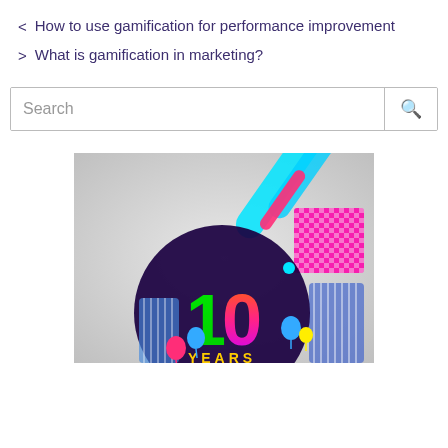< How to use gamification for performance improvement
> What is gamification in marketing?
Search
[Figure (illustration): Colorful 10 years anniversary celebration graphic with neon colored '10' numeral on dark purple circular background, balloons, and geometric shapes on gray background]